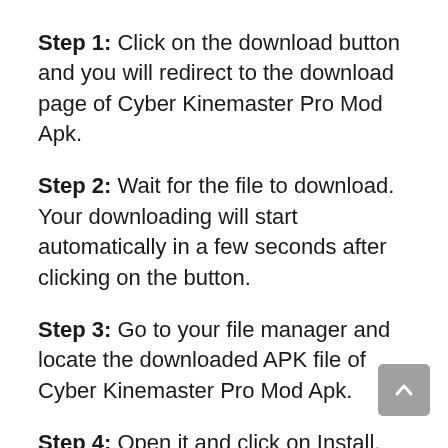Step 1: Click on the download button and you will redirect to the download page of Cyber Kinemaster Pro Mod Apk.
Step 2: Wait for the file to download. Your downloading will start automatically in a few seconds after clicking on the button.
Step 3: Go to your file manager and locate the downloaded APK file of Cyber Kinemaster Pro Mod Apk.
Step 4: Open it and click on Install. (Make sure you have enabled Unknown sources from Settings>Apps/Security).